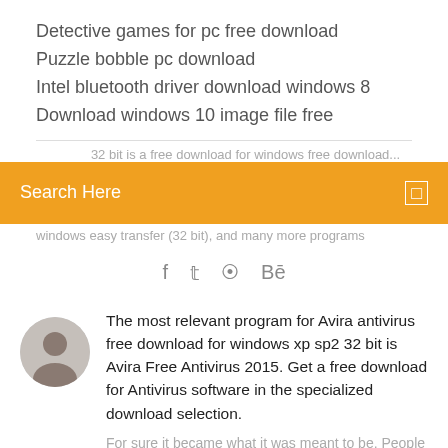Detective games for pc free download
Puzzle bobble pc download
Intel bluetooth driver download windows 8
Download windows 10 image file free
Search Here
f  ⊕  Bē
The most relevant program for Avira antivirus free download for windows xp sp2 32 bit is Avira Free Antivirus 2015. Get a free download for Antivirus software in the specialized download selection.
For sure it became what it was meant to be. People just loved the Windows XP and the...